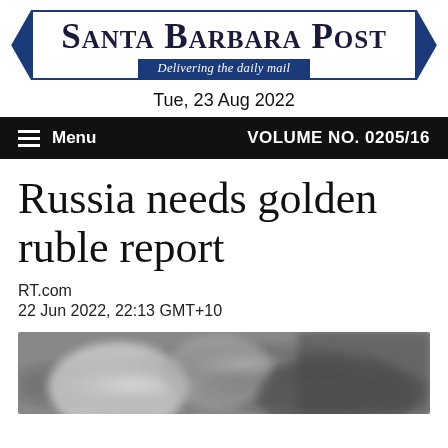Santa Barbara Post — Delivering the daily mail
Tue, 23 Aug 2022
Menu   VOLUME NO. 0205/16
Russia needs golden ruble report
RT.com
22 Jun 2022, 22:13 GMT+10
[Figure (photo): Blurred close-up photo, appears to show rounded objects in dark background]